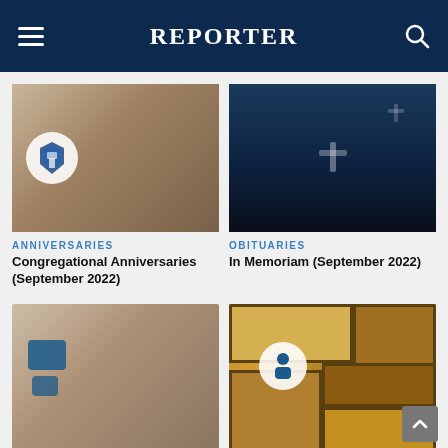Reporter
[Figure (photo): Sepia-toned blurred image of people in a meeting or classroom setting, with a church logo icon overlaid in a white circle]
ANNIVERSARIES
Congregational Anniversaries (September 2022)
[Figure (photo): Dark blue-toned blurred image of a cross silhouette against a night sky]
OBITUARIES
In Memoriam (September 2022)
[Figure (photo): Sepia-toned blurred image of people in a group setting with a chat/message icon overlaid]
[Figure (photo): Colorful stained glass window artwork with a person icon overlaid in a white circle]